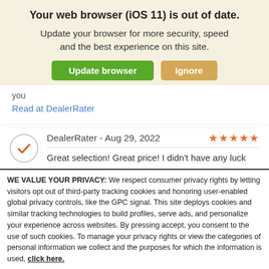Your web browser (iOS 11) is out of date.
Update your browser for more security, speed and the best experience on this site.
Update browser  Ignore
you
Read at DealerRater
DealerRater - Aug 29, 2022  ★★★★★
Great selection! Great price! I didn't have any luck
WE VALUE YOUR PRIVACY: We respect consumer privacy rights by letting visitors opt out of third-party tracking cookies and honoring user-enabled global privacy controls, like the GPC signal. This site deploys cookies and similar tracking technologies to build profiles, serve ads, and personalize your experience across websites. By pressing accept, you consent to the use of such cookies. To manage your privacy rights or view the categories of personal information we collect and the purposes for which the information is used, click here.
Language: English  ∨  Powered by ComplyAuto
Accept and Continue →  Privacy Policy  ×